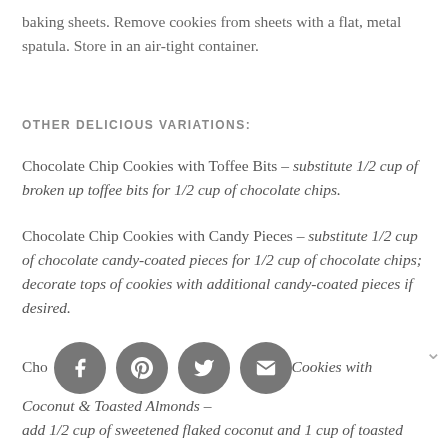cookies should still be soft and puffy. Cool cookies completely on baking sheets. Remove cookies from sheets with a flat, metal spatula. Store in an air-tight container.
OTHER DELICIOUS VARIATIONS:
Chocolate Chip Cookies with Toffee Bits – substitute 1/2 cup of broken up toffee bits for 1/2 cup of chocolate chips.
Chocolate Chip Cookies with Candy Pieces – substitute 1/2 cup of chocolate candy-coated pieces for 1/2 cup of chocolate chips; decorate tops of cookies with additional candy-coated pieces if desired.
Chocolate Chip Cookies with Coconut & Toasted Almonds – add 1/2 cup of sweetened flaked coconut and 1 cup of toasted slivered almonds.